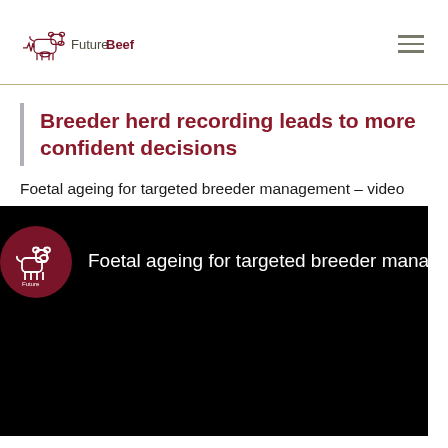FutureBeef
Breeder herd recording leads to more confident decisions
Foetal ageing for targeted breeder management – video
[Figure (screenshot): Video thumbnail showing FutureBeef logo circle on black background with text 'Foetal ageing for targeted breeder management']